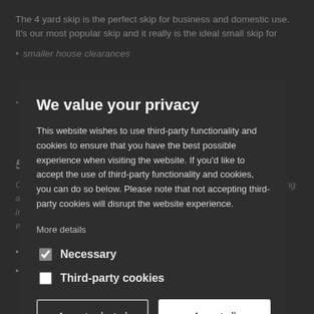The 4 yard skip is the perfect skip for business and domestic use. It's our most popular skip and it really is the ideal small skip for
smaller house clearances
We value your privacy
This website wishes to use third-party functionality and cookies to ensure that you have the best possible experience when visiting the website. If you'd like to accept the use of third-party functionality and cookies, you can do so below. Please note that not accepting third-party cookies will disrupt the website experience.
More details
5 yard skards
Our 5 yard skip is a small builder's skip that is great for larger building and refurbishment projects. It is also a popular for domestic use, including larger house clearances. The skip is available with or without a door, for easy.
Necessary
Third-party cookies
Accept selected
Accept all
Holds 40 to 65 Bin Bags